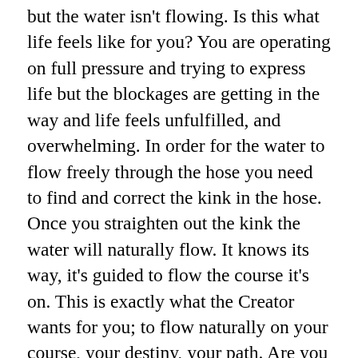but the water isn't flowing. Is this what life feels like for you? You are operating on full pressure and trying to express life but the blockages are getting in the way and life feels unfulfilled, and overwhelming. In order for the water to flow freely through the hose you need to find and correct the kink in the hose. Once you straighten out the kink the water will naturally flow. It knows its way, it's guided to flow the course it's on. This is exactly what the Creator wants for you; to flow naturally on your course, your destiny, your path. Are you flowing freely through life? Potential Blocks: Relationships struggles, unfulfilled in your career, feeling unsettled and out of sync with the world, lacking inner peace or just operating on auto pilot. Once you have identified the blocks it's time to unravel the parts that are blocked. Un-learn what you've been conditioned to believe about yourself and the world. Begin to rebuild your foundation. The foundation to your life is your SELF ESTEEM. What are you built on? Thoughts that no longer serve you, reactions and victimhood? If so, the time has come to dismantle all of